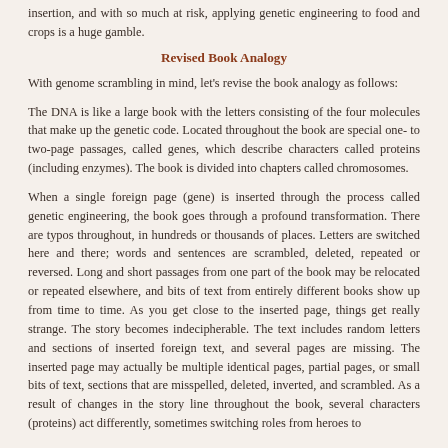insertion, and with so much at risk, applying genetic engineering to food and crops is a huge gamble.
Revised Book Analogy
With genome scrambling in mind, let's revise the book analogy as follows:
The DNA is like a large book with the letters consisting of the four molecules that make up the genetic code. Located throughout the book are special one- to two-page passages, called genes, which describe characters called proteins (including enzymes). The book is divided into chapters called chromosomes.
When a single foreign page (gene) is inserted through the process called genetic engineering, the book goes through a profound transformation. There are typos throughout, in hundreds or thousands of places. Letters are switched here and there; words and sentences are scrambled, deleted, repeated or reversed. Long and short passages from one part of the book may be relocated or repeated elsewhere, and bits of text from entirely different books show up from time to time. As you get close to the inserted page, things get really strange. The story becomes indecipherable. The text includes random letters and sections of inserted foreign text, and several pages are missing. The inserted page may actually be multiple identical pages, partial pages, or small bits of text, sections that are misspelled, deleted, inverted, and scrambled. As a result of changes in the story line throughout the book, several characters (proteins) act differently, sometimes switching roles from heroes to